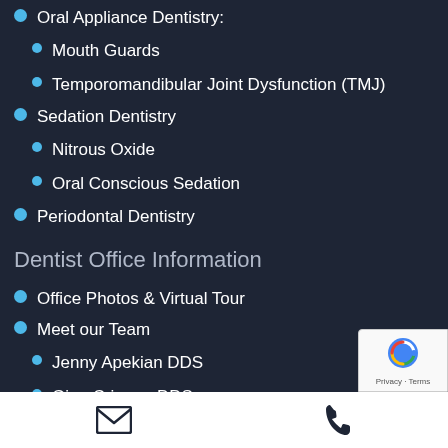Oral Appliance Dentistry:
Mouth Guards
Temporomandibular Joint Dysfunction (TMJ)
Sedation Dentistry
Nitrous Oxide
Oral Conscious Sedation
Periodontal Dentistry
Dentist Office Information
Office Photos & Virtual Tour
Meet our Team
Jenny Apekian DDS
Gina Crippen DDS
Sarah Mathai DDS
Email | Phone | Privacy - Terms